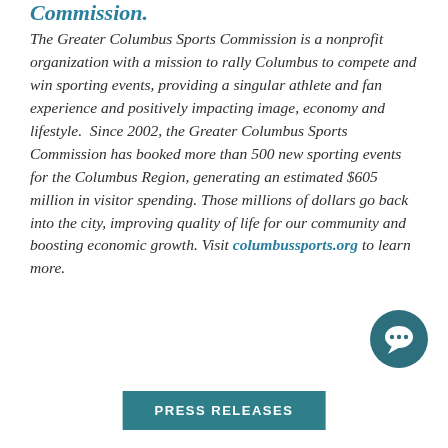Commission.
The Greater Columbus Sports Commission is a nonprofit organization with a mission to rally Columbus to compete and win sporting events, providing a singular athlete and fan experience and positively impacting image, economy and lifestyle.  Since 2002, the Greater Columbus Sports Commission has booked more than 500 new sporting events for the Columbus Region, generating an estimated $605 million in visitor spending. Those millions of dollars go back into the city, improving quality of life for our community and boosting economic growth. Visit columbussports.org to learn more.
[Figure (other): Chat bubble icon circle in dark teal color]
PRESS RELEASES